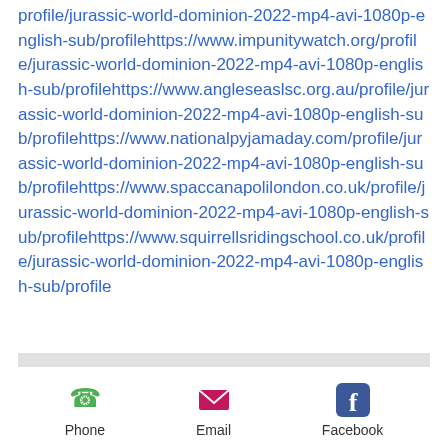profile/jurassic-world-dominion-2022-mp4-avi-1080p-english-sub/profilehttps://www.impunitywatch.org/profile/jurassic-world-dominion-2022-mp4-avi-1080p-english-sub/profilehttps://www.angleaslsc.org.au/profile/jurassic-world-dominion-2022-mp4-avi-1080p-english-sub/profilehttps://www.nationalpyjamaday.com/profile/jurassic-world-dominion-2022-mp4-avi-1080p-english-sub/profilehttps://www.spaccanapolilondon.co.uk/profile/jurassic-world-dominion-2022-mp4-avi-1080p-english-sub/profilehttps://www.squirrellsridingschool.co.uk/profile/jurassic-world-dominion-2022-mp4-avi-1080p-english-sub/profile
[Figure (infographic): Mobile app footer bar with three icons: Phone (green phone icon), Email (pink/red envelope icon), Facebook (blue Facebook icon)]